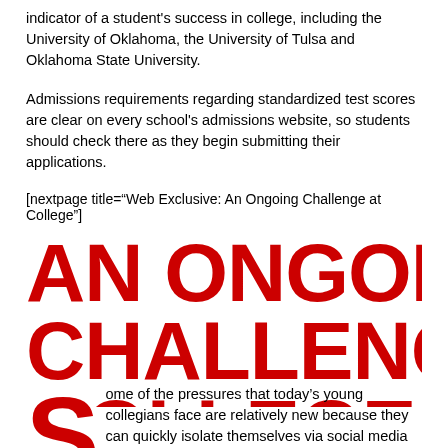indicator of a student's success in college, including the University of Oklahoma, the University of Tulsa and Oklahoma State University.
Admissions requirements regarding standardized test scores are clear on every school's admissions website, so students should check there as they begin submitting their applications.
[nextpage title="Web Exclusive: An Ongoing Challenge at College"]
AN ONGOING CHALLENGE AT COLLEGE
Some of the pressures that today's young collegians face are relatively new because they can quickly isolate themselves via social media while, at the same time, they deal with the stressors of "snowplow" parents.
What has remained the same over generations, according to the counseling directors at the University of Oklahoma and Oklahoma State University, is the temptation for those under 21 to drink alcohol. Illegal and binge drinking continue to be among the top